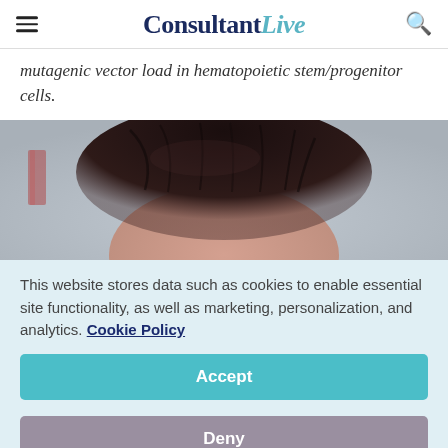ConsultantLive
mutagenic vector load in hematopoietic stem/progenitor cells.
[Figure (photo): Top of a person's head with dark hair, photo cropped to show only the hair and forehead, with a blurred laboratory or clinical background.]
This website stores data such as cookies to enable essential site functionality, as well as marketing, personalization, and analytics. Cookie Policy
Accept
Deny